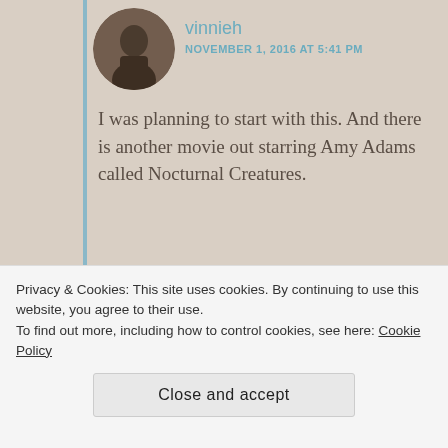vinnieh
NOVEMBER 1, 2016 AT 5:41 PM
I was planning to start with this. And there is another movie out starring Amy Adams called Nocturnal Creatures.
Like
vinnieh
NOVEMBER 1, 2016 AT 5:42 PM
Privacy & Cookies: This site uses cookies. By continuing to use this website, you agree to their use.
To find out more, including how to control cookies, see here: Cookie Policy
Close and accept